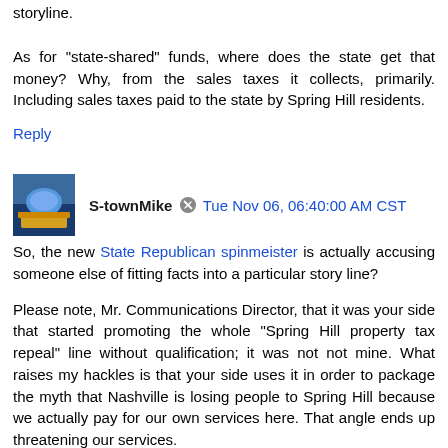storyline.
As for "state-shared" funds, where does the state get that money? Why, from the sales taxes it collects, primarily. Including sales taxes paid to the state by Spring Hill residents.
Reply
S-townMike  Tue Nov 06, 06:40:00 AM CST
So, the new State Republican spinmeister is actually accusing someone else of fitting facts into a particular story line?
Please note, Mr. Communications Director, that it was your side that started promoting the whole "Spring Hill property tax repeal" line without qualification; it was not not mine. What raises my hackles is that your side uses it in order to package the myth that Nashville is losing people to Spring Hill because we actually pay for our own services here. That angle ends up threatening our services.